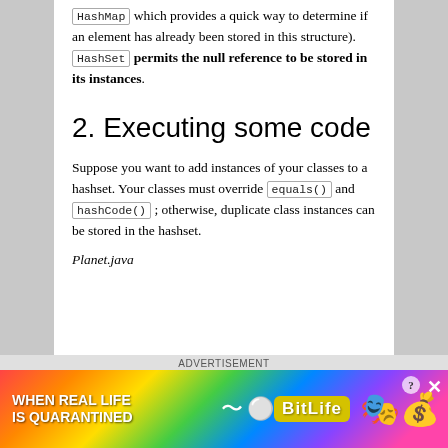HashMap which provides a quick way to determine if an element has already been stored in this structure). HashSet permits the null reference to be stored in its instances.
2. Executing some code
Suppose you want to add instances of your classes to a hashset. Your classes must override equals() and hashCode() ; otherwise, duplicate class instances can be stored in the hashset.
Planet.java
ADVERTISEMENT
[Figure (illustration): BitLife mobile game advertisement banner with rainbow gradient background showing 'WHEN REAL LIFE IS QUARANTINED' text and BitLife logo with emoji characters]